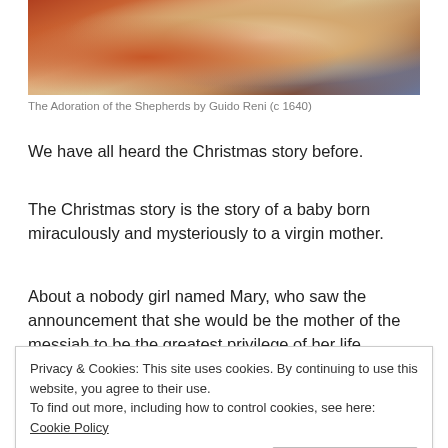[Figure (illustration): Painting detail from The Adoration of the Shepherds by Guido Reni (c 1640), showing figures in warm reddish-orange and beige tones]
The Adoration of the Shepherds by Guido Reni (c 1640)
We have all heard the Christmas story before.
The Christmas story is the story of a baby born miraculously and mysteriously to a virgin mother.
About a nobody girl named Mary, who saw the announcement that she would be the mother of the messiah to be the greatest privilege of her life, despite its meaning she would be ostracized perhaps the rest of her life, since she was not married.
Privacy & Cookies: This site uses cookies. By continuing to use this website, you agree to their use.
To find out more, including how to control cookies, see here: Cookie Policy
the marriage quietly.